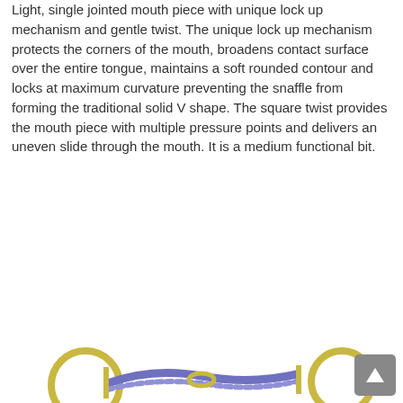Light, single jointed mouth piece with unique lock up mechanism and gentle twist. The unique lock up mechanism protects the corners of the mouth, broadens contact surface over the entire tongue, maintains a soft rounded contour and locks at maximum curvature preventing the snaffle from forming the traditional solid V shape. The square twist provides the mouth piece with multiple pressure points and delivers an uneven slide through the mouth. It is a medium functional bit.
[Figure (other): Shopping Cart button with asterisk icon and red border, and a product photo of a horse bit with rings and twisted metal mouthpiece at the bottom of the page, plus a back-to-top button]